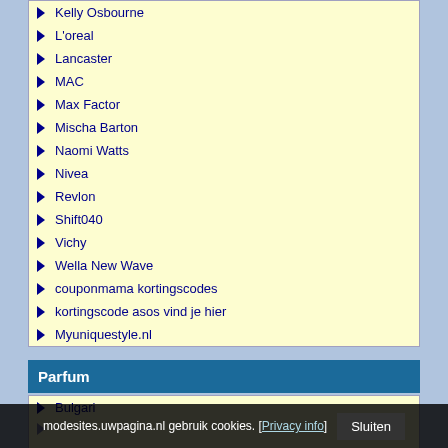Kelly Osbourne
L'oreal
Lancaster
MAC
Max Factor
Mischa Barton
Naomi Watts
Nivea
Revlon
Shift040
Vichy
Wella New Wave
couponmama kortingscodes
kortingscode asos vind je hier
Myuniquestyle.nl
Parfum
Bulgari
modesites.uwpagina.nl gebruik cookies. [Privacy info] Sluiten